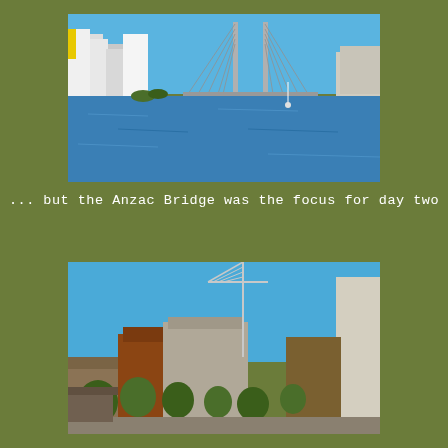[Figure (photo): Waterfront view of Sydney with Anzac Bridge cable-stayed bridge in background, blue sky, calm water in foreground, modern white apartment buildings on the left, older industrial building on the right]
... but the Anzac Bridge was the focus for day two
[Figure (photo): Waterfront view of Sydney cityscape with construction crane in the centre, modern and old brick buildings along the waterfront, trees at the base, tall apartment buildings on the right, clear blue sky]